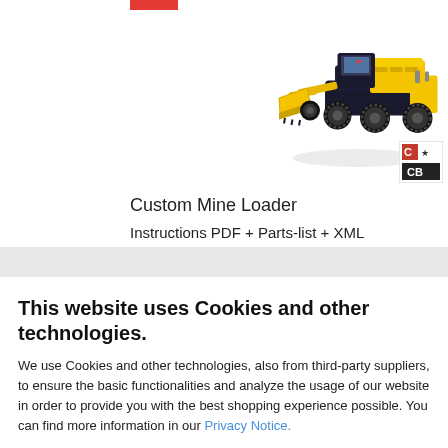[Figure (photo): LEGO Technic Custom Mine Loader model - yellow and black construction vehicle with front loader bucket, viewed from above at an angle. Small CB logo in bottom right of image area.]
Custom Mine Loader
Instructions PDF + Parts-list + XML
=> Design by Effermann <=
This website uses Cookies and other technologies.
We use Cookies and other technologies, also from third-party suppliers, to ensure the basic functionalities and analyze the usage of our website in order to provide you with the best shopping experience possible. You can find more information in our Privacy Notice.
Accept all
More information